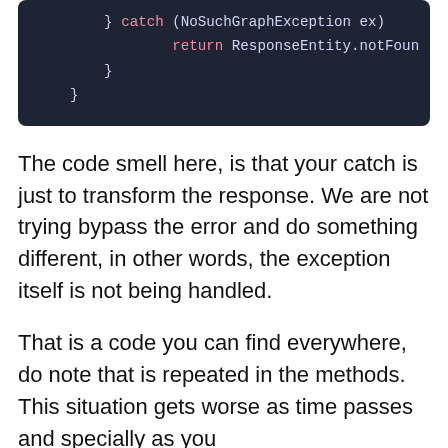[Figure (screenshot): Dark-themed code editor screenshot showing a catch block with NoSuchGraphException and a return statement with ResponseEntity.notFound, followed by closing braces.]
The code smell here, is that your catch is just to transform the response. We are not trying bypass the error and do something different, in other words, the exception itself is not being handled.
That is a code you can find everywhere, do note that is repeated in the methods. This situation gets worse as time passes and specially as you